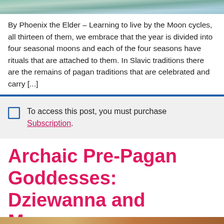[Figure (photo): Partial view of a nature/moon themed decorative image at the top of the page]
By Phoenix the Elder – Learning to live by the Moon cycles, all thirteen of them, we embrace that the year is divided into four seasonal moons and each of the four seasons have rituals that are attached to them. In Slavic traditions there are the remains of pagan traditions that are celebrated and carry [...]
To access this post, you must purchase Subscription.
Archaic Pre-Pagan Goddesses: Dziewanna and Marzanna
[Figure (photo): Partial view of a decorative image at the bottom of the page]